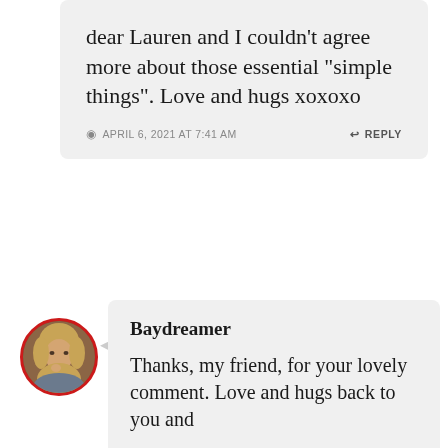dear Lauren and I couldn't agree more about those essential “simple things”. Love and hugs xoxoxo
APRIL 6, 2021 AT 7:41 AM
REPLY
[Figure (photo): Circular avatar photo of a woman with blonde hair, bordered by a red circle]
Baydreamer
Thanks, my friend, for your lovely comment. Love and hugs back to you and